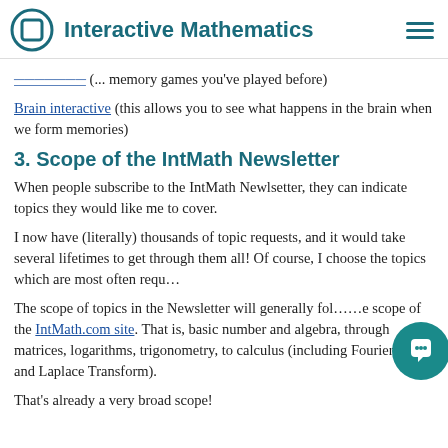Interactive Mathematics
[truncated link] (... memory games you've played before)
Brain interactive (this allows you to see what happens in the brain when we form memories)
3. Scope of the IntMath Newsletter
When people subscribe to the IntMath Newlsetter, they can indicate topics they would like me to cover.
I now have (literally) thousands of topic requests, and it would take several lifetimes to get through them all! Of course, I choose the topics which are most often requ...
The scope of topics in the Newsletter will generally fol... scope of the IntMath.com site. That is, basic number and algebra, through matrices, logarithms, trigonometry, to calculus (including Fourier Series and Laplace Transform).
That's already a very broad scope!